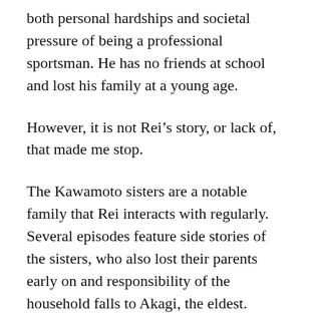both personal hardships and societal pressure of being a professional sportsman. He has no friends at school and lost his family at a young age.
However, it is not Rei’s story, or lack of, that made me stop.
The Kawamoto sisters are a notable family that Rei interacts with regularly. Several episodes feature side stories of the sisters, who also lost their parents early on and responsibility of the household falls to Akagi, the eldest.
In the middle of season 2, Hina, the middle child in her final year of primary school